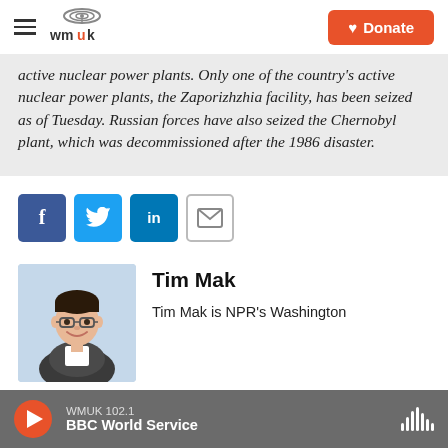wmuk | Donate
active nuclear power plants. Only one of the country's active nuclear power plants, the Zaporizhzhia facility, has been seized as of Tuesday. Russian forces have also seized the Chernobyl plant, which was decommissioned after the 1986 disaster.
[Figure (other): Social share buttons: Facebook, Twitter, LinkedIn, Email]
[Figure (photo): Headshot photo of Tim Mak]
Tim Mak
Tim Mak is NPR's Washington
WMUK 102.1 BBC World Service